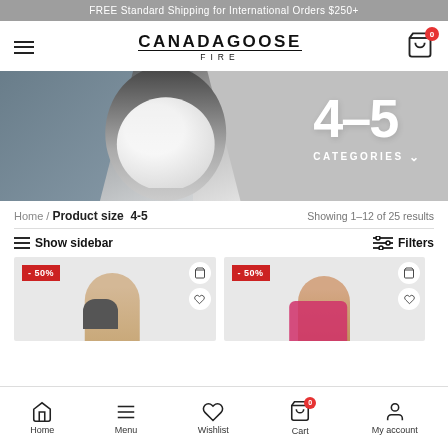FREE Standard Shipping for International Orders $250+
[Figure (logo): Canada Goose Fire brand logo with hamburger menu and cart icon]
[Figure (photo): Hero banner showing woman in white Canada Goose jacket with '4-5 CATEGORIES' text overlay]
Home / Product size  4-5    Showing 1–12 of 25 results
≡ Show sidebar    Filters
[Figure (photo): Product card with -50% badge showing child model, add to cart and wishlist icons]
[Figure (photo): Product card with -50% badge showing girl model in pink jacket, add to cart and wishlist icons]
Home   Menu   Wishlist   Cart   My account